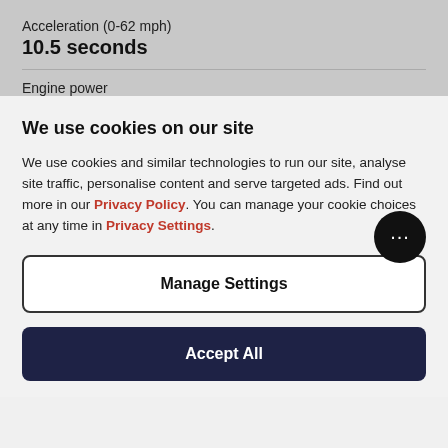Acceleration (0-62 mph)
10.5 seconds
Engine power
We use cookies on our site
We use cookies and similar technologies to run our site, analyse site traffic, personalise content and serve targeted ads. Find out more in our Privacy Policy. You can manage your cookie choices at any time in Privacy Settings.
Manage Settings
Accept All